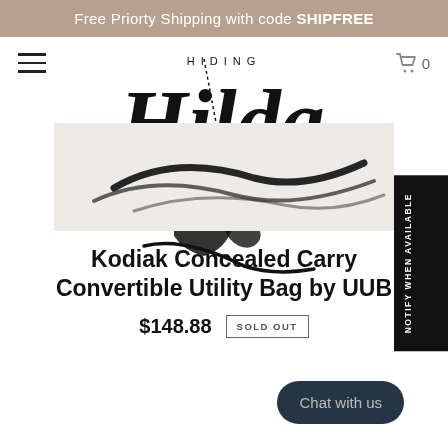Free Priorty Shipping with code SHIPFREE
[Figure (logo): Hiding Hilda brand logo with stylized script lettering and zipper/bag illustration]
[Figure (photo): Product image showing abstract brush strokes on light background representing the Kodiak Concealed Carry Convertible Utility Bag]
Kodiak Concealed Carry Convertible Utility Bag by UUB
$148.88 SOLD OUT
Chat with us
NOTIFY WHEN AVAILABLE